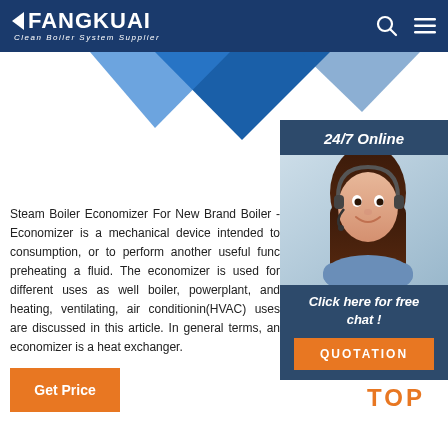FANGKUAI - Clean Boiler System Supplier
[Figure (screenshot): Website header with FANGKUAI logo and navigation icons]
[Figure (illustration): Blue triangular decorative graphic below header]
[Figure (photo): 24/7 Online customer service panel with woman wearing headset, Click here for free chat button, and QUOTATION button]
Steam Boiler Economizer For New Brand Boiler - Economizer is a mechanical device intended to consumption, or to perform another useful function such as preheating a fluid. The economizer is used for different uses as well boiler, powerplant, and heating, ventilating, air conditionin(HVAC) uses are discussed in this article. In general terms, an economizer is a heat exchanger.
Get Price
[Figure (illustration): TOP icon with orange dots arranged in triangle above the word TOP in orange]